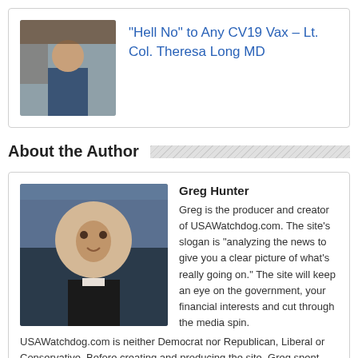[Figure (photo): Thumbnail photo of Lt. Col. Theresa Long MD]
“Hell No” to Any CV19 Vax – Lt. Col. Theresa Long MD
About the Author
[Figure (photo): Professional headshot photo of Greg Hunter]
Greg Hunter
Greg is the producer and creator of USAWatchdog.com. The site’s slogan is “analyzing the news to give you a clear picture of what's really going on.” The site will keep an eye on the government, your financial interests and cut through the media spin. USAWatchdog.com is neither Democrat nor Republican, Liberal or Conservative. Before creating and producing the site, Greg spent nearly 9 years as a network and investigative correspondent. He worked for ABC News and Good Morning America for nearly 6 years. Most recently, Greg worked for CNN